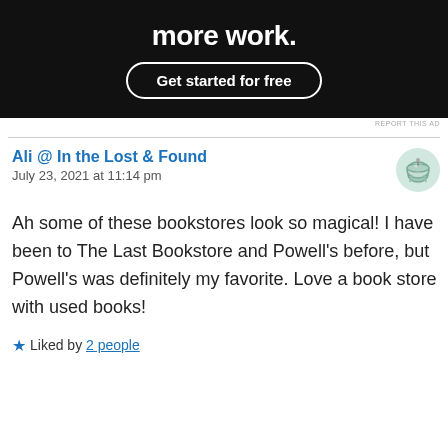[Figure (screenshot): Dark advertisement banner with white text 'more work.' and a rounded button 'Get started for free']
REPORT THIS AD
Ali @ In the Lost & Found
July 23, 2021 at 11:14 pm
Ah some of these bookstores look so magical! I have been to The Last Bookstore and Powell's before, but Powell's was definitely my favorite. Love a book store with used books!
★ Liked by 2 people